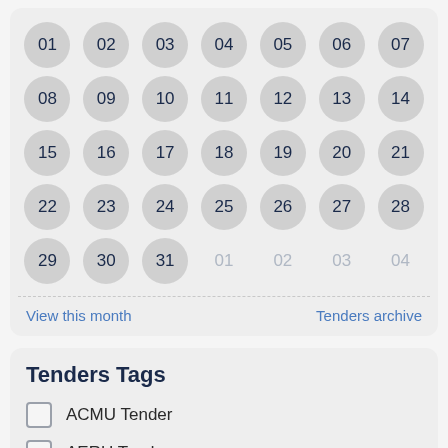[Figure (other): Calendar grid showing days 01-31 plus overflow days 01-04 from next month, arranged in 5 rows of 7 circular buttons. Days 29-31 are current month (darker circles), 01-04 are next month (lighter/inactive).]
View this month
Tenders archive
Tenders Tags
ACMU Tender
AERU Tender
ASD Tender